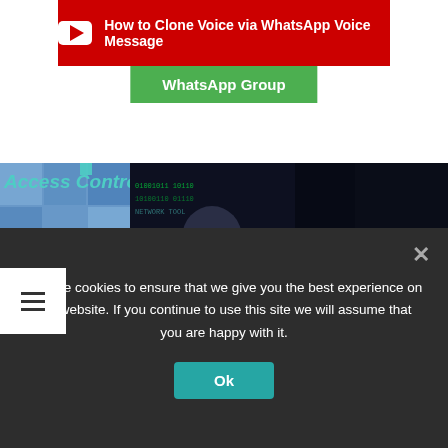[Figure (screenshot): Red YouTube banner with play icon and text 'How to Clone Voice via WhatsApp Voice Message']
WhatsApp Group
[Figure (screenshot): Three thumbnail cards: 1) HOW TO EASILY SPOOF MAC ADDRESS AUTOMATICALLY AND BE MORE, 2) HOW TO USE ADVANCED NETWORK INTELLIGENCE TOOLKIT FOR, 3) TUTORIAL FOR PENTESTING ANDROID APPS USING THE FREE ZANTI TOOLKIT]
[Figure (photo): Person with glasses looking down, teal background]
We use cookies to ensure that we give you the best experience on our website. If you continue to use this site we will assume that you are happy with it.